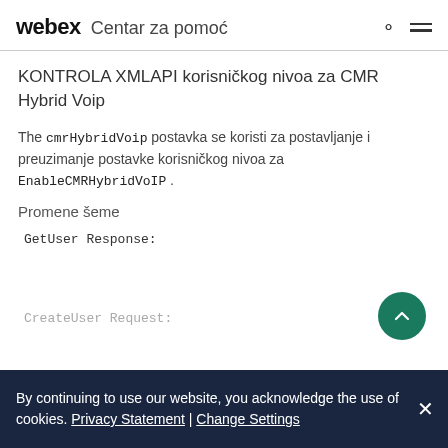webex Centar za pomoć
KONTROLA XMLAPI korisničkog nivoa za CMR Hybrid Voip
The cmrHybridVoip postavka se koristi za postavljanje i preuzimanje postavke korisničkog nivoa za EnableCMRHybridVoIP .
Promene šeme
GetUser Response:
CreateUser Request:
By continuing to use our website, you acknowledge the use of cookies. Privacy Statement | Change Settings